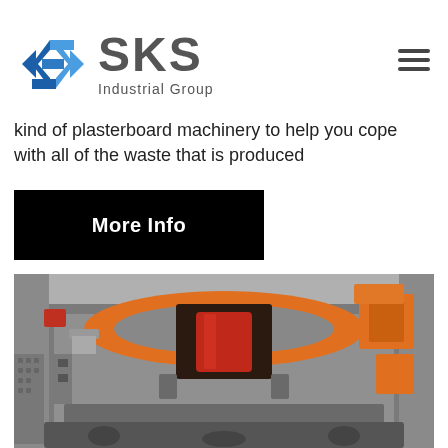[Figure (logo): SKS Industrial Group logo with blue angular S-shaped icon and grey text]
kind of plasterboard machinery to help you cope with all of the waste that is produced
More Info
[Figure (photo): Close-up photo of industrial heavy machinery, featuring orange and grey metal components, likely a crusher or mill, with red cylindrical element visible inside an opening]